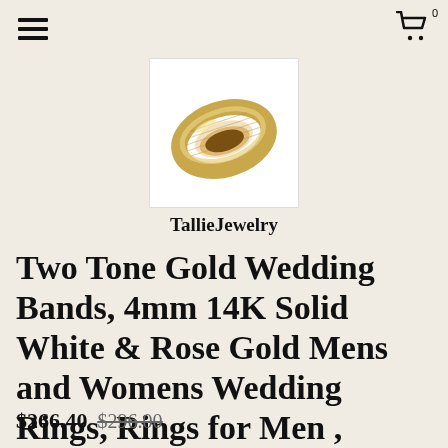≡  [cart icon] 0
[Figure (photo): Gold wedding band ring shown at an angle against white background]
TallieJewelry
Two Tone Gold Wedding Bands, 4mm 14K Solid White & Rose Gold Mens and Womens Wedding Rings, Rings for Men , Rings for Women, Two Tone Rings
$266.40  $296.00